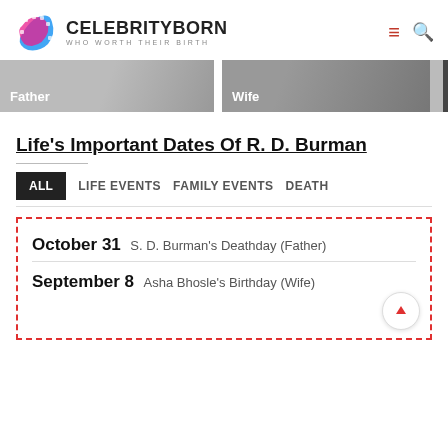CELEBRITYBORN — WHO WORTH THEIR BIRTH
[Figure (photo): Two thumbnail images labeled 'Father' and 'Wife' in an image strip]
Life's Important Dates Of R. D. Burman
ALL  LIFE EVENTS  FAMILY EVENTS  DEATH
October 31  S. D. Burman's Deathday (Father)
September 8  Asha Bhosle's Birthday (Wife)